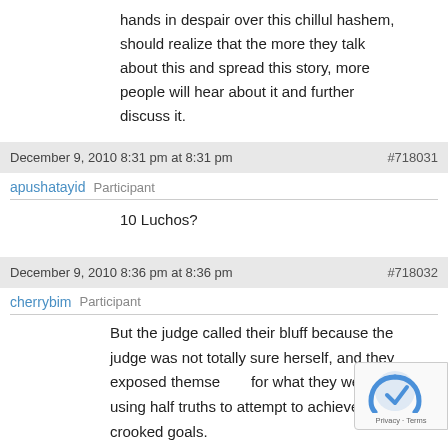hands in despair over this chillul hashem, should realize that the more they talk about this and spread this story, more people will hear about it and further discuss it.
December 9, 2010 8:31 pm at 8:31 pm  #718031
apushatayid  Participant
10 Luchos?
December 9, 2010 8:36 pm at 8:36 pm  #718032
cherrybim  Participant
But the judge called their bluff because the judge was not totally sure herself, and they exposed themselves for what they were; using half truths to attempt to achieve their crooked goals.